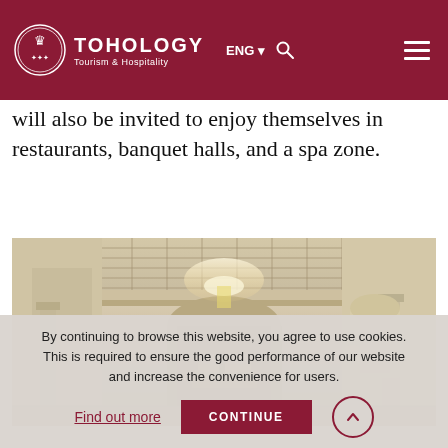TOHOLOGY Tourism & Hospitality | ENG | Search | Menu
will also be invited to enjoy themselves in restaurants, banquet halls, and a spa zone.
[Figure (photo): Interior of a grand hotel or palace hall with ornate arched columns, a glass ceiling, chandelier, and a grand staircase — rendered in a sepia/HDR artistic style.]
By continuing to browse this website, you agree to use cookies. This is required to ensure the good performance of our website and increase the convenience for users.
Find out more  CONTINUE